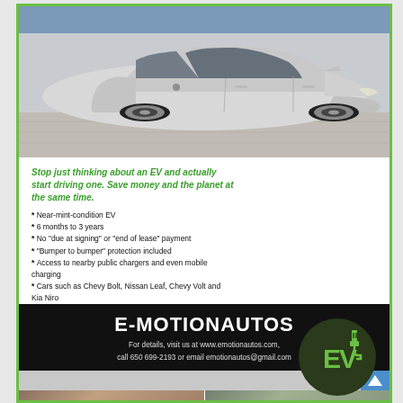[Figure (photo): Silver Nissan Leaf electric vehicle photographed in a showroom with blue and grey background]
Stop just thinking about an EV and actually start driving one. Save money and the planet at the same time.
Near-mint-condition EV
6 months to 3 years
No "due at signing" or "end of lease" payment
"Bumper to bumper" protection included
Access to nearby public chargers and even mobile charging
Cars such as Chevy Bolt, Nissan Leaf, Chevy Volt and Kia Niro
[Figure (logo): Dark green circle with EV text and electric plug icon]
E-MOTIONAUTOS
For details, visit us at www.emotionautos.com, call 650 699-2193 or email emotionautos@gmail.com
[Figure (photo): Two partial photos at bottom of page showing people]